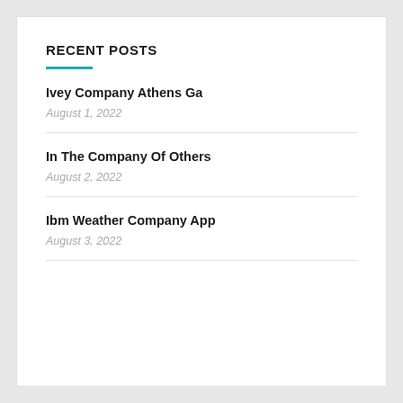RECENT POSTS
Ivey Company Athens Ga
August 1, 2022
In The Company Of Others
August 2, 2022
Ibm Weather Company App
August 3, 2022